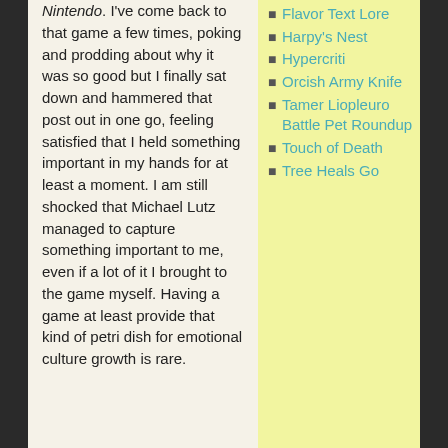Nintendo. I've come back to that game a few times, poking and prodding about why it was so good but I finally sat down and hammered that post out in one go, feeling satisfied that I held something important in my hands for at least a moment. I am still shocked that Michael Lutz managed to capture something important to me, even if a lot of it I brought to the game myself. Having a game at least provide that kind of petri dish for emotional culture growth is rare.
Flavor Text Lore
Harpy's Nest
Hypercritica
Orcish Army Knife
Tamer Liopleurodon Battle Pet Roundup
Touch of Death
Tree Heals Go